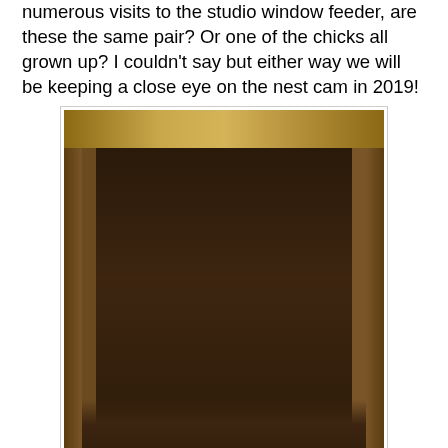numerous visits to the studio window feeder, are these the same pair? Or one of the chicks all grown up? I couldn't say but either way we will be keeping a close eye on the nest cam in 2019!
[Figure (photo): Photograph showing the interior of a wooden hedgehog house/box viewed from above, with dark nesting material inside surrounded by wooden walls and a wooden divider.]
Encounters with nature didn't end there, after the chicks had fledged I made a bug hotel out of various off cuts of wood that I had and a hedgehog house (following instructions provided by The BritishHedgehog Preservation Society) and having added the all essential food and water we had a visitor, a rather large hedgehog in there within a week! Actually, hedgehogs are not so uncommon in our garden and a welcome sight when stargazing but this particular one was